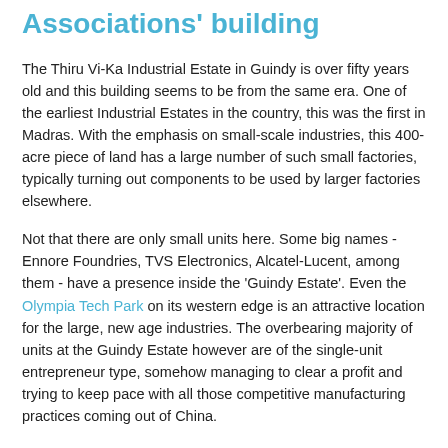Associations' building
The Thiru Vi-Ka Industrial Estate in Guindy is over fifty years old and this building seems to be from the same era. One of the earliest Industrial Estates in the country, this was the first in Madras. With the emphasis on small-scale industries, this 400-acre piece of land has a large number of such small factories, typically turning out components to be used by larger factories elsewhere.
Not that there are only small units here. Some big names - Ennore Foundries, TVS Electronics, Alcatel-Lucent, among them - have a presence inside the 'Guindy Estate'. Even the Olympia Tech Park on its western edge is an attractive location for the large, new age industries. The overbearing majority of units at the Guindy Estate however are of the single-unit entrepreneur type, somehow managing to clear a profit and trying to keep pace with all those competitive manufacturing practices coming out of China.
Bringing those kind of entrepreneurs together are various associations and industry groupings. The biggest of them here happens to be the IEMA - the Industrial Estate Manufacturers'